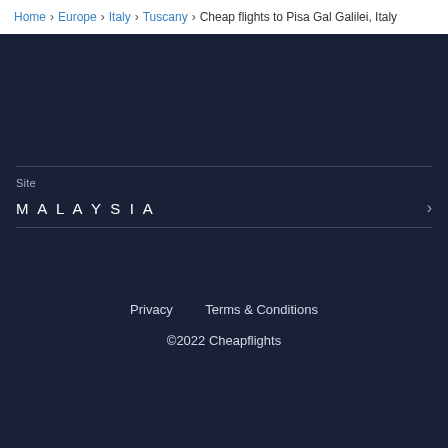Home > Europe > Italy > Tuscany > Cheap flights to Pisa Gal Galilei, Italy
Site
MALAYSIA
Privacy   Terms & Conditions   ©2022 Cheapflights